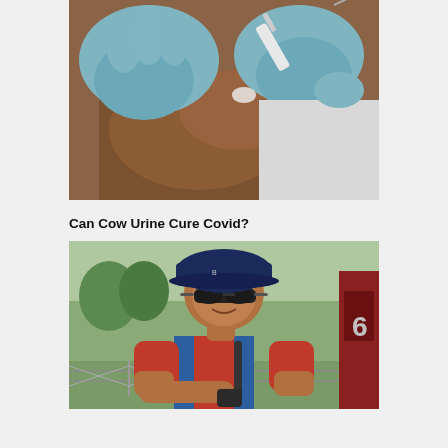[Figure (photo): Close-up photo of a person receiving a vaccine injection in their upper arm. Medical professional wearing blue latex gloves holds a syringe against the person's darker-skinned arm. The person receiving the vaccine wears a white shirt.]
Can Cow Urine Cure Covid?
[Figure (photo): Photo of a middle-aged man of South Asian appearance wearing a dark blue cap, dark sunglasses, and a red and blue sports shirt. He appears to be outdoors near a chain-link fence with trees and a red structure visible in the background.]